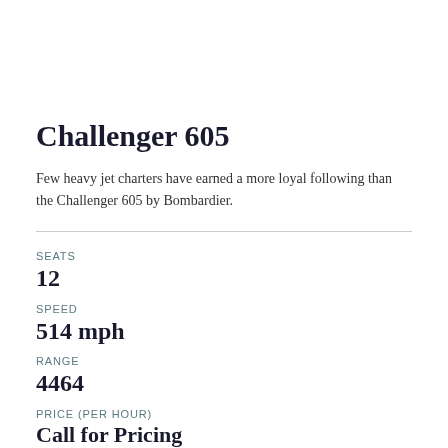Challenger 605
Few heavy jet charters have earned a more loyal following than the Challenger 605 by Bombardier.
SEATS
12
SPEED
514 mph
RANGE
4464
PRICE (PER HOUR)
Call for Pricing